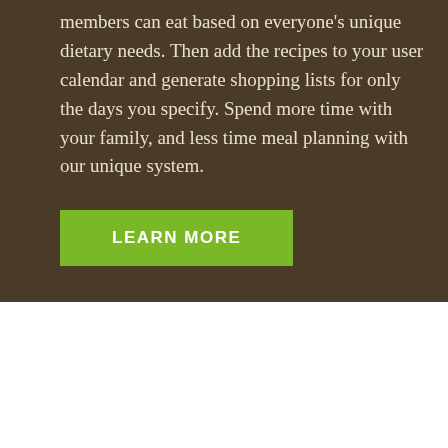members can eat based on everyone's unique dietary needs. Then add the recipes to your user calendar and generate shopping lists for only the days you specify. Spend more time with your family, and less time meal planning with our unique system.
LEARN MORE
Become a Member
[Figure (photo): Food photograph showing salad and dishes, partially visible at bottom of page]